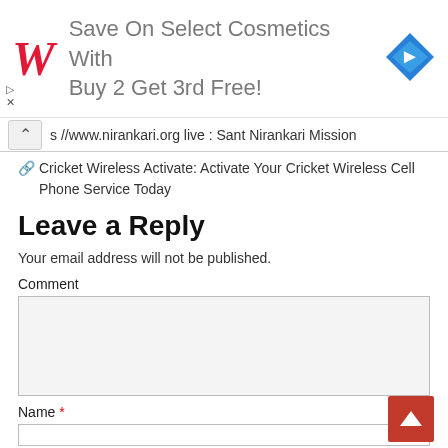[Figure (screenshot): Walgreens advertisement banner: red W logo on left, text 'Save On Select Cosmetics With Buy 2 Get 3rd Free!' in gray, blue diamond navigation icon on right, with play and close controls at bottom left.]
s //www.nirankari.org live : Sant Nirankari Mission
Cricket Wireless Activate: Activate Your Cricket Wireless Cell Phone Service Today
Leave a Reply
Your email address will not be published.
Comment
Name *